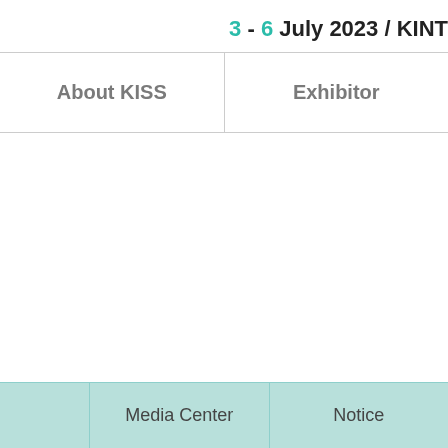3 - 6 July 2023 / KINT
| About KISS | Exhibitor |
| --- | --- |
|  | Media Center | Notice |
| --- | --- | --- |